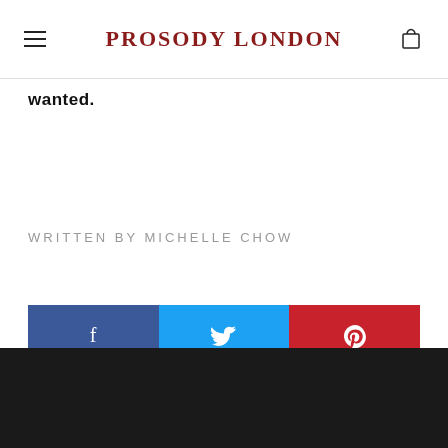PROSODY LONDON
wanted.
WRITTEN BY MICHELLE CHOW
[Figure (infographic): Social sharing buttons: Facebook (blue), Twitter (light blue), Pinterest (red), each with their respective icons (f, bird, p)]
[Figure (other): Dark footer bar at the bottom of the page]